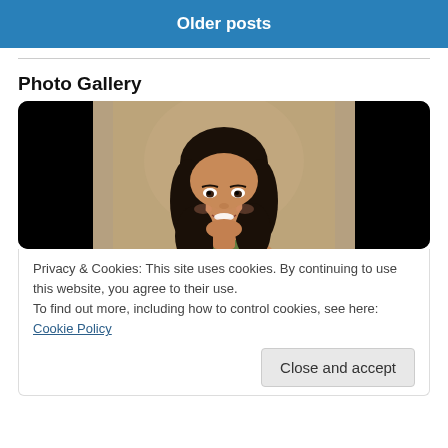Older posts
Photo Gallery
[Figure (photo): A smiling young woman with long dark hair, professional headshot photo displayed in a photo gallery widget with black bars on both sides, set against a dark rounded-corner frame.]
Privacy & Cookies: This site uses cookies. By continuing to use this website, you agree to their use.
To find out more, including how to control cookies, see here: Cookie Policy
Close and accept